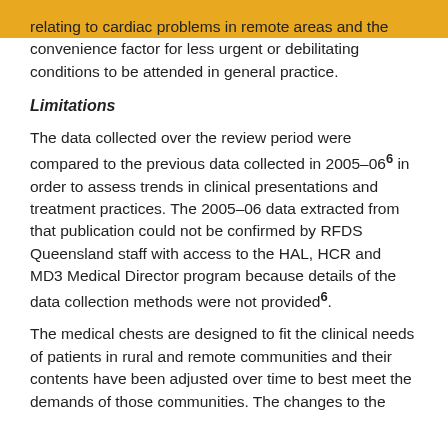relating to cardiac problems in remote areas and the convenience factor for less urgent or debilitating conditions to be attended in general practice.
Limitations
The data collected over the review period were compared to the previous data collected in 2005–06⁶ in order to assess trends in clinical presentations and treatment practices. The 2005–06 data extracted from that publication could not be confirmed by RFDS Queensland staff with access to the HAL, HCR and MD3 Medical Director program because details of the data collection methods were not provided⁶.
The medical chests are designed to fit the clinical needs of patients in rural and remote communities and their contents have been adjusted over time to best meet the demands of those communities. The changes to the